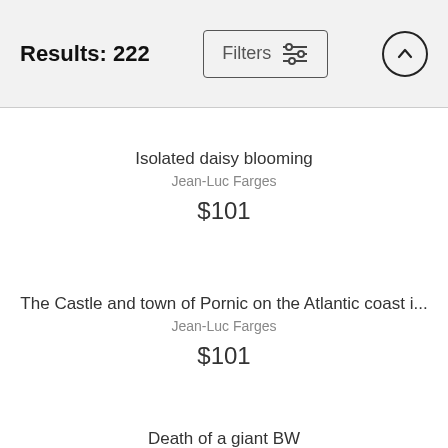Results: 222
Isolated daisy blooming
Jean-Luc Farges
$101
The Castle and town of Pornic on the Atlantic coast i...
Jean-Luc Farges
$101
Death of a giant BW